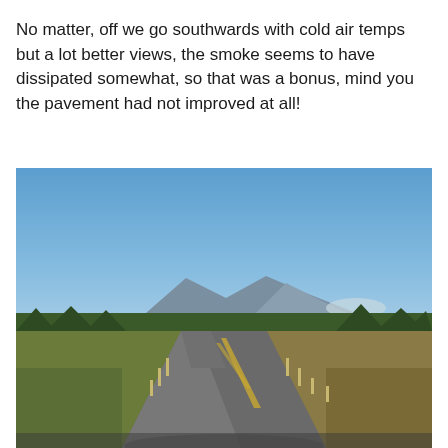No matter, off we go southwards with cold air temps but a lot better views, the smoke seems to have dissipated somewhat, so that was a bonus, mind you the pavement had not improved at all!
[Figure (photo): A two-lane rural road stretching southward into the distance under a clear blue sky, flanked by low green shrubs and sparse trees, with rolling hills and mountains visible on the horizon.]